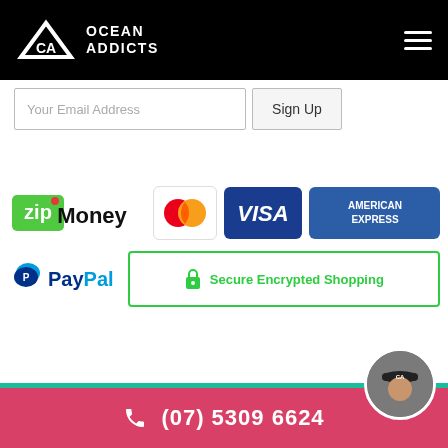Ocean Addicts
Your Email Address
Sign Up
[Figure (logo): Payment method logos: zipMoney, Mastercard, Visa, American Express, PayPal, and Secure Encrypted Shopping badge]
(07) 5309 6624